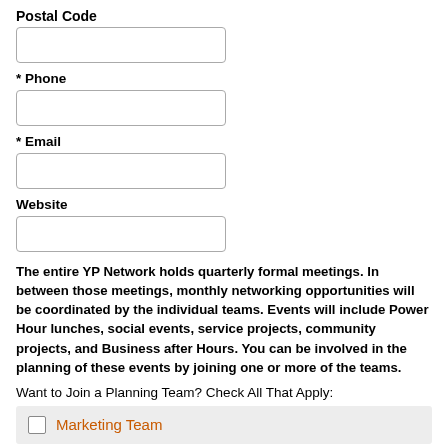Postal Code
[Figure (other): Empty text input box for Postal Code]
* Phone
[Figure (other): Empty text input box for Phone]
* Email
[Figure (other): Empty text input box for Email]
Website
[Figure (other): Empty text input box for Website]
The entire YP Network holds quarterly formal meetings. In between those meetings, monthly networking opportunities will be coordinated by the individual teams. Events will include Power Hour lunches, social events, service projects, community projects, and Business after Hours. You can be involved in the planning of these events by joining one or more of the teams.
Want to Join a Planning Team? Check All That Apply:
Marketing Team